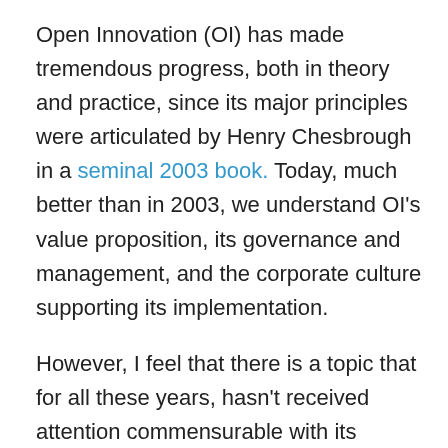Open Innovation (OI) has made tremendous progress, both in theory and practice, since its major principles were articulated by Henry Chesbrough in a seminal 2003 book. Today, much better than in 2003, we understand OI's value proposition, its governance and management, and the corporate culture supporting its implementation.
However, I feel that there is a topic that for all these years, hasn't received attention commensurable with its importance. This topic is OI tools. As far as I know, a 2013 study by Chesbrough and Sabine Brunswicker remains the only publication presenting a systematic list of OI practices used by American and European companies. (I'd be very grateful to anyone pointing me to additional published data on the topic.)
Chesbrough and Brunswicker classified OI tools based on